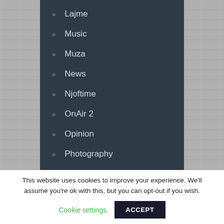» Lajme
» Music
» Muza
» News
» Njoftime
» OnAir 2
» Opinion
» Photography
This website uses cookies to improve your experience. We'll assume you're ok with this, but you can opt-out if you wish.
Cookie settings
ACCEPT